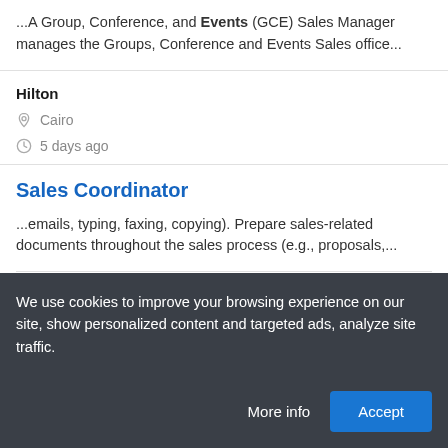...A Group, Conference, and Events (GCE) Sales Manager manages the Groups, Conference and Events Sales office...
Hilton
Cairo
5 days ago
Sales Coordinator
...emails, typing, faxing, copying). Prepare sales-related documents throughout the sales process (e.g., proposals,...
Cairo
We use cookies to improve your browsing experience on our site, show personalized content and targeted ads, analyze site traffic.
More info
Accept